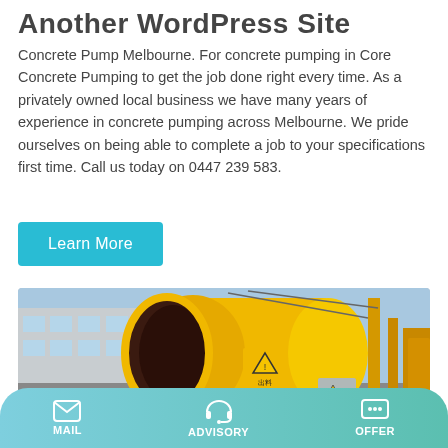Another WordPress Site
Concrete Pump Melbourne. For concrete pumping in Core Concrete Pumping to get the job done right every time. As a privately owned local business we have many years of experience in concrete pumping across Melbourne. We pride ourselves on being able to complete a job to your specifications first time. Call us today on 0447 239 583.
Learn More
[Figure (photo): Yellow concrete mixer/pump machine photographed outdoors in an industrial yard, with Chinese characters on the drum.]
MAIL   ADVISORY   OFFER